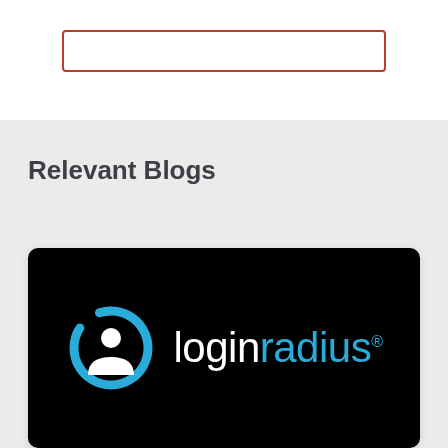[Figure (screenshot): A search input box with an orange/red border on a white background]
Relevant Blogs
[Figure (logo): LoginRadius logo on a black background — circular icon in blue and white on the left, and 'loginradius.' text with 'login' in white and 'radius.' in blue on the right]